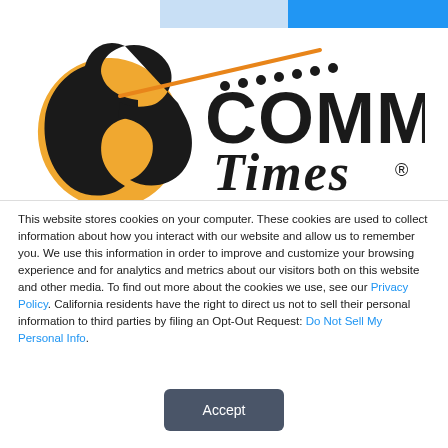[Figure (logo): ECo mmerce Times logo with orange swoosh E letter shape, dots row, large COMMERCE text, and Times in blackletter/gothic font with registered trademark symbol]
This website stores cookies on your computer. These cookies are used to collect information about how you interact with our website and allow us to remember you. We use this information in order to improve and customize your browsing experience and for analytics and metrics about our visitors both on this website and other media. To find out more about the cookies we use, see our Privacy Policy. California residents have the right to direct us not to sell their personal information to third parties by filing an Opt-Out Request: Do Not Sell My Personal Info.
[Figure (other): Accept button — rounded dark grey rectangle with white 'Accept' text]